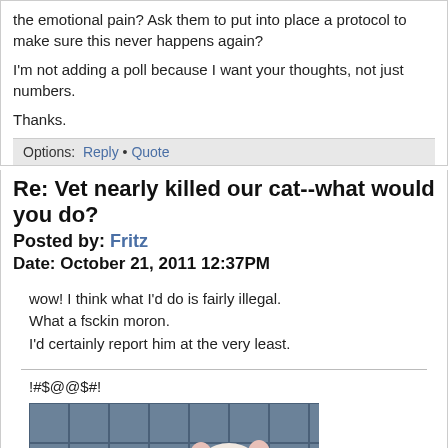the emotional pain? Ask them to put into place a protocol to make sure this never happens again?

I'm not adding a poll because I want your thoughts, not just numbers.

Thanks.
Options: Reply • Quote
Re: Vet nearly killed our cat--what would you do?
Posted by: Fritz
Date: October 21, 2011 12:37PM
wow! I think what I'd do is fairly illegal.
What a fsckin moron.
I'd certainly report him at the very least.
!#$@@$#!
[Figure (illustration): Cartoon image of Pinky and the Brain characters (two white mice) from the animated TV show, standing against a blue grid background.]